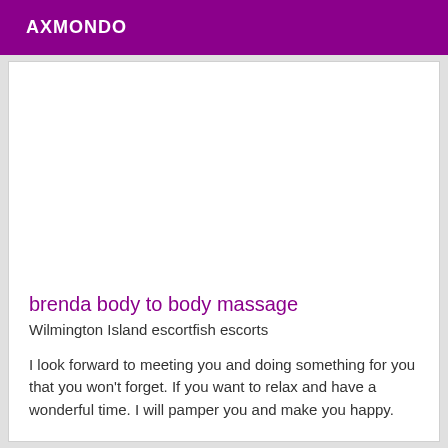AXMONDO
brenda body to body massage
Wilmington Island escortfish escorts
I look forward to meeting you and doing something for you that you won't forget. If you want to relax and have a wonderful time. I will pamper you and make you happy.